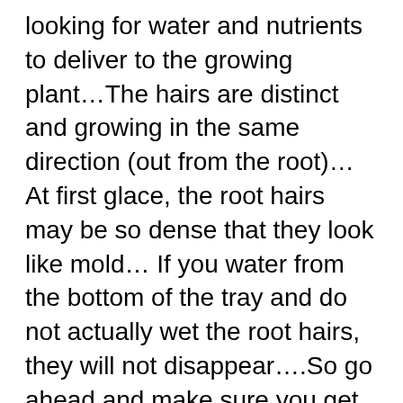looking for water and nutrients to deliver to the growing plant…The hairs are distinct and growing in the same direction (out from the root)…At first glace, the root hairs may be so dense that they look like mold… If you water from the bottom of the tray and do not actually wet the root hairs, they will not disappear….So go ahead and make sure you get them wet to see them disappear…. Spray or gently water your microgreens from the top. If they are root hairs, the white fuzzy look will disappear. "
Source: https://www.quantummicrogreens.com/blog-1/mold-or-root-hairs-on-microgreens.
When I first stated growing microgreens in 2021, I did not have the double tray system with the upper tray that had small drainage holes. I was